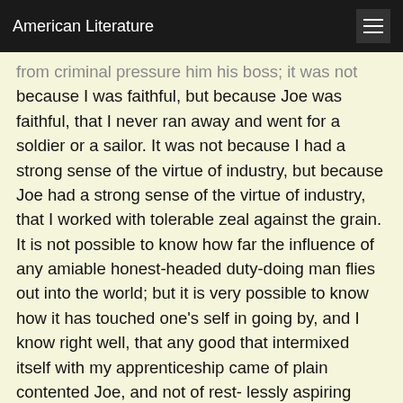American Literature
from criminal pressure him his boss; it was not because I was faithful, but because Joe was faithful, that I never ran away and went for a soldier or a sailor. It was not because I had a strong sense of the virtue of industry, but because Joe had a strong sense of the virtue of industry, that I worked with tolerable zeal against the grain. It is not possible to know how far the influence of any amiable honest-headed duty-doing man flies out into the world; but it is very possible to know how it has touched one's self in going by, and I know right well, that any good that intermixed itself with my apprenticeship came of plain contented Joe, and not of rest- lessly aspiring discontented me.